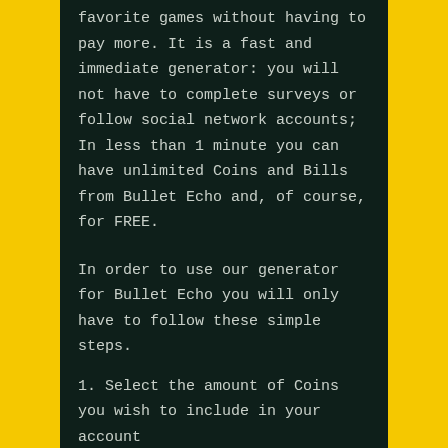favorite games without having to pay more. It is a fast and immediate generator: you will not have to complete surveys or follow social network accounts; In less than 1 minute you can have unlimited Coins and Bills from Bullet Echo and, of course, for FREE.
In order to use our generator for Bullet Echo you will only have to follow these simple steps.
1. Select the amount of Coins you wish to include in your account